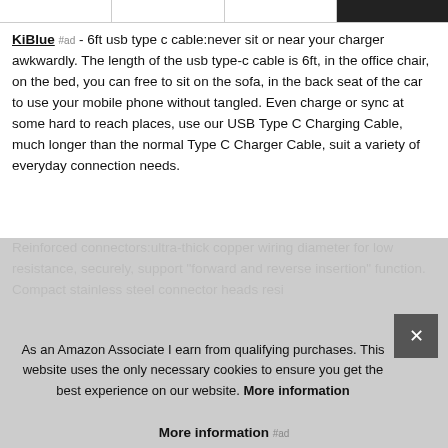[Figure (other): Top navigation bar with four cells, partially showing product images/buttons]
KiBlue #ad - 6ft usb type c cable:never sit or near your charger awkwardly. The length of the usb type-c cable is 6ft, in the office chair, on the bed, you can free to sit on the sofa, in the back seat of the car to use your mobile phone without tangled. Even charge or sync at some hard to reach places, use our USB Type C Charging Cable, much longer than the normal Type C Charger Cable, suit a variety of everyday connection needs.
Reinforced connectors:ultra-thick copper wiring diameter for low resistance, securely, support "forward and reverse insertion" function. Compact stainless steel connector heads resi... Cha... inse...
As an Amazon Associate I earn from qualifying purchases. This website uses the only necessary cookies to ensure you get the best experience on our website. More information
More information #ad